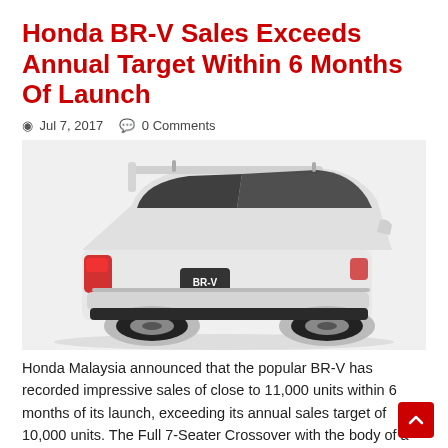Honda BR-V Sales Exceeds Annual Target Within 6 Months Of Launch
Jul 7, 2017   0 Comments
[Figure (photo): Rear three-quarter view of a white Honda BR-V SUV/crossover with BR-V badge on the number plate area, shown on a white background.]
Honda Malaysia announced that the popular BR-V has recorded impressive sales of close to 11,000 units within 6 months of its launch, exceeding its annual sales target of 10,000 units. The Full 7-Seater Crossover with the body of a ‘SUV’ and the space of a ‘MPV’ has enabled Honda Malaysia to penetrate into a new market as the BR-V offers ...